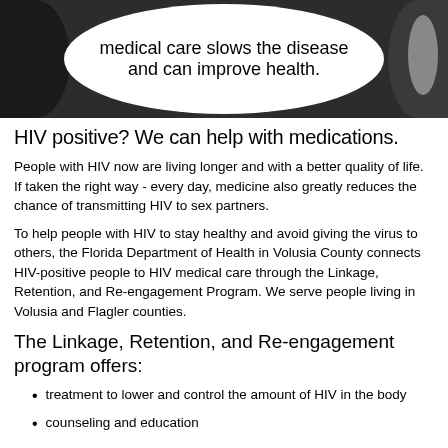[Figure (illustration): Dark circular/oval frame with a speech bubble in the center showing partial text about HIV medical care slowing the disease and improving health. Black curved shapes on left and right edges.]
HIV positive? We can help with medications.
People with HIV now are living longer and with a better quality of life. If taken the right way - every day, medicine also greatly reduces the chance of transmitting HIV to sex partners.
To help people with HIV to stay healthy and avoid giving the virus to others, the Florida Department of Health in Volusia County connects HIV-positive people to HIV medical care through the Linkage, Retention, and Re-engagement Program. We serve people living in Volusia and Flagler counties.
The Linkage, Retention, and Re-engagement program offers:
treatment to lower and control the amount of HIV in the body
counseling and education